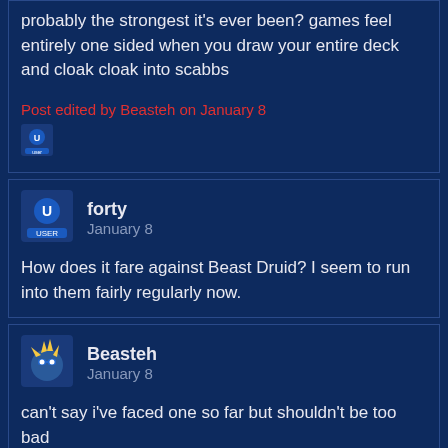probably the strongest it's ever been? games feel entirely one sided when you draw your entire deck and cloak cloak into scabbs
Post edited by Beasteh on January 8
[Figure (illustration): Small user avatar icon with U symbol]
forty
January 8
How does it fare against Beast Druid? I seem to run into them fairly regularly now.
[Figure (illustration): Beasteh user avatar with spiky character icon]
Beasteh
January 8
can't say i've faced one so far but shouldn't be too bad
[Figure (illustration): Small user avatar icon partial view]
forty